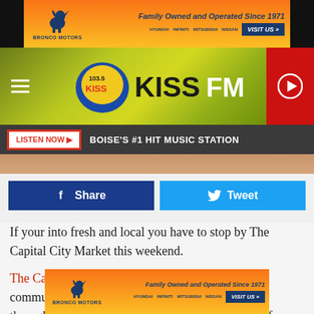[Figure (screenshot): Bronco Motors advertisement banner - orange/yellow gradient background with horse logo, text 'Family Owned and Operated Since 1971', car brand logos (Hyundai, Infiniti, Mitsubishi, Nissan), and 'VISIT US' button]
[Figure (logo): 103.5 KISS FM radio station logo on yellow-green bokeh background with hamburger menu and play button]
LISTEN NOW ▶  BOISE'S #1 HIT MUSIC STATION
[Figure (photo): Partial food/market product image strip]
[Figure (screenshot): Facebook Share button and Twitter Tweet button]
If your into fresh and local you have to stop by The Capital City Market this weekend.
The Capital City Public Market has connected the community with growers, producers and artisans throughout Idaho since 1994, generating millions of dollars of revenue for the local economy.
[Figure (screenshot): Bronco Motors advertisement banner at bottom - same as top banner but smaller]